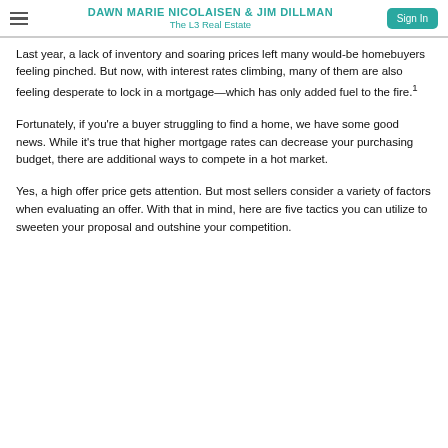DAWN MARIE NICOLAISEN & JIM DILLMAN — The L3 Real Estate
Last year, a lack of inventory and soaring prices left many would-be homebuyers feeling pinched. But now, with interest rates climbing, many of them are also feeling desperate to lock in a mortgage—which has only added fuel to the fire.¹
Fortunately, if you're a buyer struggling to find a home, we have some good news. While it's true that higher mortgage rates can decrease your purchasing budget, there are additional ways to compete in a hot market.
Yes, a high offer price gets attention. But most sellers consider a variety of factors when evaluating an offer. With that in mind, here are five tactics you can utilize to sweeten your proposal and outshine your competition.